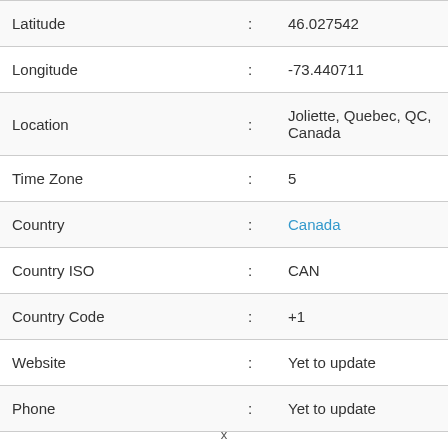| Field | Sep | Value |
| --- | --- | --- |
| Latitude | : | 46.027542 |
| Longitude | : | -73.440711 |
| Location | : | Joliette, Quebec, QC, Canada |
| Time Zone | : | 5 |
| Country | : | Canada |
| Country ISO | : | CAN |
| Country Code | : | +1 |
| Website | : | Yet to update |
| Phone | : | Yet to update |
x